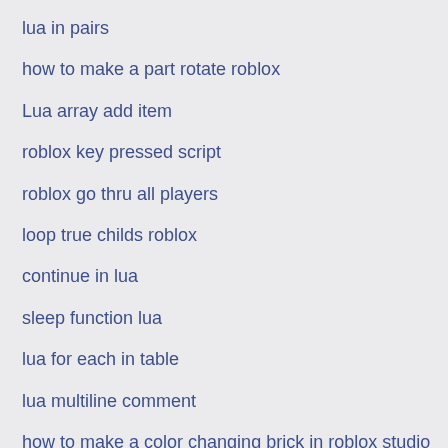lua in pairs
how to make a part rotate roblox
Lua array add item
roblox key pressed script
roblox go thru all players
loop true childs roblox
continue in lua
sleep function lua
lua for each in table
lua multiline comment
how to make a color changing brick in roblox studio
roblox on touch script
user input lua
conda find package version